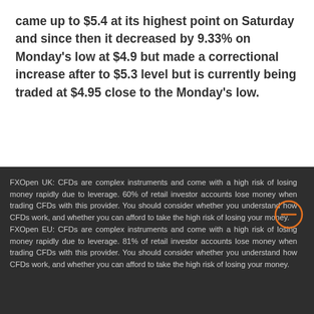came up to $5.4 at its highest point on Saturday and since then it decreased by 9.33% on Monday's low at $4.9 but made a correctional increase after to $5.3 level but is currently being traded at $4.95 close to the Monday's low.
FXOpen UK: CFDs are complex instruments and come with a high risk of losing money rapidly due to leverage. 60% of retail investor accounts lose money when trading CFDs with this provider. You should consider whether you understand how CFDs work, and whether you can afford to take the high risk of losing your money. FXOpen EU: CFDs are complex instruments and come with a high risk of losing money rapidly due to leverage. 81% of retail investor accounts lose money when trading CFDs with this provider. You should consider whether you understand how CFDs work, and whether you can afford to take the high risk of losing your money.